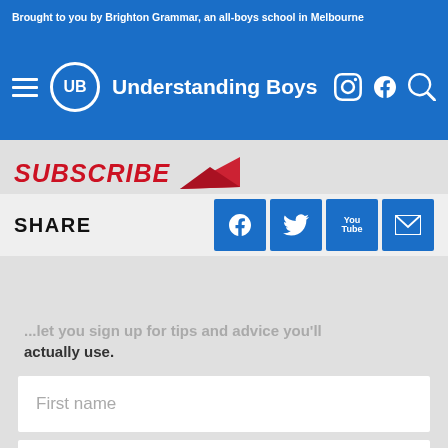Brought to you by Brighton Grammar, an all-boys school in Melbourne
[Figure (screenshot): Understanding Boys website navigation bar with hamburger menu, UB logo circle, site title 'Understanding Boys', and Instagram, Facebook, Search icons]
SUBSCRIBE
SHARE
...let you sign up for tips and advice you'll actually use.
First name
Surname
Enter your email